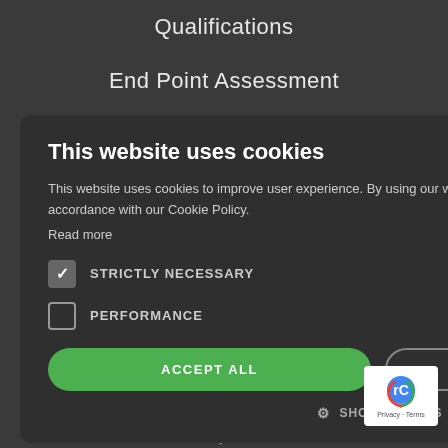Qualifications
End Point Assessment
Consultancy
This website uses cookies
This website uses cookies to improve user experience. By using our website you consent to all cookies in accordance with our Cookie Policy. Read more
STRICTLY NECESSARY
PERFORMANCE
ACCEPT ALL
DECLINE ALL
SHOW DETAILS
[Figure (logo): reCAPTCHA badge with Google logo, showing Privacy and Terms links]
Site by Phlite